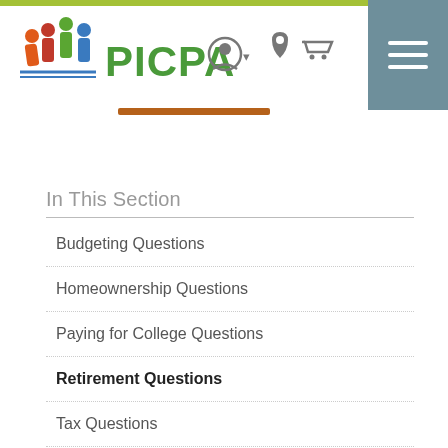[Figure (logo): PICPA logo with colorful people figures and green/blue PICPA text]
In This Section
Budgeting Questions
Homeownership Questions
Paying for College Questions
Retirement Questions
Tax Questions